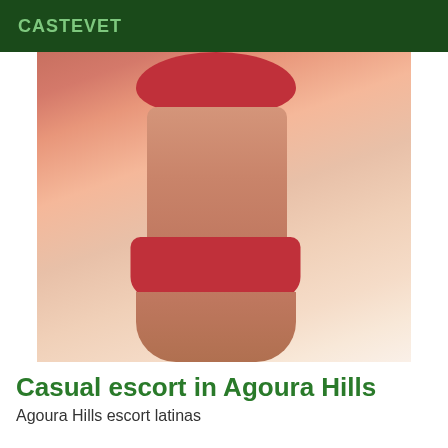CASTEVET
[Figure (photo): A person wearing a red bikini, torso and lower body visible, standing near a window with soft lighting.]
Casual escort in Agoura Hills
Agoura Hills escort latinas